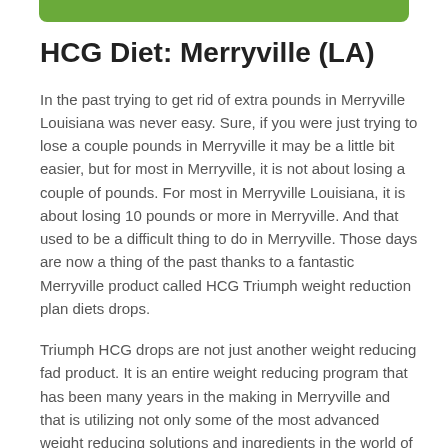[Figure (other): Green decorative bar at top of page]
HCG Diet: Merryville (LA)
In the past trying to get rid of extra pounds in Merryville Louisiana was never easy. Sure, if you were just trying to lose a couple pounds in Merryville it may be a little bit easier, but for most in Merryville, it is not about losing a couple of pounds. For most in Merryville Louisiana, it is about losing 10 pounds or more in Merryville. And that used to be a difficult thing to do in Merryville. Those days are now a thing of the past thanks to a fantastic Merryville product called HCG Triumph weight reduction plan diets drops.
Triumph HCG drops are not just another weight reducing fad product. It is an entire weight reducing program that has been many years in the making in Merryville and that is utilizing not only some of the most advanced weight reducing solutions and ingredients in the world of natural weight reducing, but Triumph HCG drops also use the most advanced solutions in Merryville LA in nutrition and proper maintenance of weight management. Together, it makes for a Louisiana weight reducing program that is very effective and that is also incredibly quick in Merryville. With the Triumph